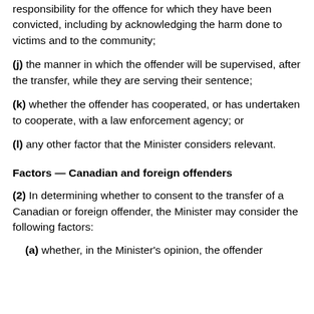(i) ... responsibility for the offence for which they have been convicted, including by acknowledging the harm done to victims and to the community;
(j) the manner in which the offender will be supervised, after the transfer, while they are serving their sentence;
(k) whether the offender has cooperated, or has undertaken to cooperate, with a law enforcement agency; or
(l) any other factor that the Minister considers relevant.
Factors — Canadian and foreign offenders
(2) In determining whether to consent to the transfer of a Canadian or foreign offender, the Minister may consider the following factors:
(a) whether, in the Minister's opinion, the offender